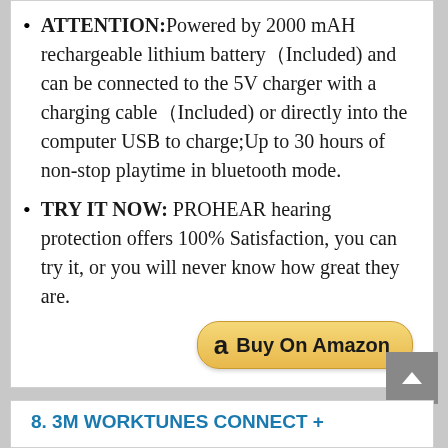ATTENTION:Powered by 2000 mAH rechargeable lithium battery（Included) and can be connected to the 5V charger with a charging cable（Included) or directly into the computer USB to charge;Up to 30 hours of non-stop playtime in bluetooth mode.
TRY IT NOW: PROHEAR hearing protection offers 100% Satisfaction, you can try it, or you will never know how great they are.
[Figure (other): Buy On Amazon button with Amazon logo]
8. 3M WORKTUNES CONNECT +